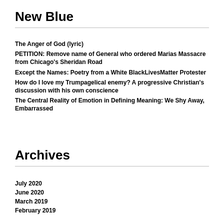New Blue
The Anger of God (lyric)
PETITION: Remove name of General who ordered Marias Massacre from Chicago's Sheridan Road
Except the Names: Poetry from a White BlackLivesMatter Protester
How do I love my Trumpagelical enemy? A progressive Christian's discussion with his own conscience
The Central Reality of Emotion in Defining Meaning: We Shy Away, Embarrassed
Archives
July 2020
June 2020
March 2019
February 2019